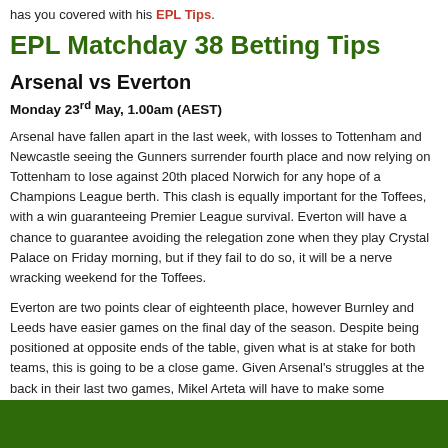has you covered with his EPL Tips.
EPL Matchday 38 Betting Tips
Arsenal vs Everton
Monday 23rd May, 1.00am (AEST)
Arsenal have fallen apart in the last week, with losses to Tottenham and Newcastle seeing the Gunners surrender fourth place and now relying on Tottenham to lose against 20th placed Norwich for any hope of a Champions League berth. This clash is equally important for the Toffees, with a win guaranteeing Premier League survival. Everton will have a chance to guarantee avoiding the relegation zone when they play Crystal Palace on Friday morning, but if they fail to do so, it will be a nerve wracking weekend for the Toffees.
Everton are two points clear of eighteenth place, however Burnley and Leeds have easier games on the final day of the season. Despite being positioned at opposite ends of the table, given what is at stake for both teams, this is going to be a close game. Given Arsenal's struggles at the back in their last two games, Mikel Arteta will have to make some adjustments, so expect this